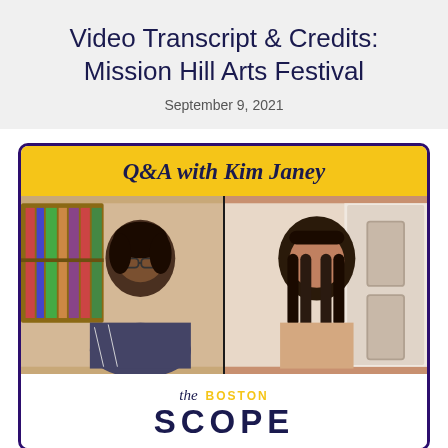Video Transcript & Credits: Mission Hill Arts Festival
September 9, 2021
[Figure (screenshot): Video thumbnail showing a Q&A session with Kim Janey. Yellow title bar reads 'Q&A with Kim Janey' in dark navy italic bold serif font. Below shows two women in a video call frame side by side. Bottom section shows 'the BOSTON SCOPE' logo with yellow accent.]